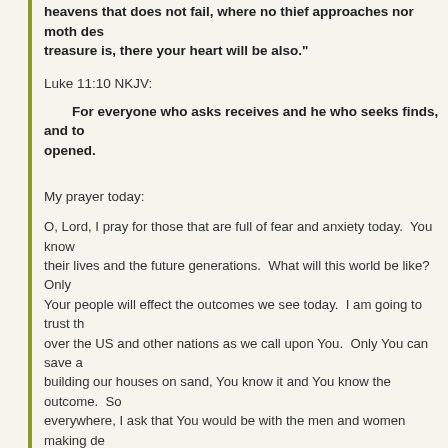heavens that does not fail, where no thief approaches nor moth destroys. For where your treasure is, there your heart will be also."
Luke 11:10 NKJV:
For everyone who asks receives and he who seeks finds, and to him who knocks it will be opened.
My prayer today:
O, Lord, I pray for those that are full of fear and anxiety today. You know what is going on in their lives and the future generations. What will this world be like? Only the prayers of Your people will effect the outcomes we see today. I am going to trust that You have authority over the US and other nations as we call upon You. Only You can save a world that seems to be building our houses on sand, You know it and You know the outcome. So I pray for leaders everywhere, I ask that You would be with the men and women making decisions for our future. I ask that You would give them wisdom and humble them before You. I ask that You would lead Your people and to give us wisdom in uncertain times. We don't want to be tossed about like a hurricane, we want to be still like the waters of a river. Bring us up to understand and help us pray for the things that matter most to You. All possessions are nothing if You are not with us. We thank you for every provision and for every ounce of wisdom You give us. You are mighty and in Your hand we are safe. So guide the lost to You, encourage Your saints boldly and help all of us to be bold for our families and our countries. We must change the world through prayer and petition. They are just men and women full of s